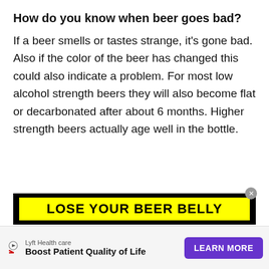How do you know when beer goes bad?
If a beer smells or tastes strange, it's gone bad. Also if the color of the beer has changed this could also indicate a problem. For most low alcohol strength beers they will also become flat or decarbonated after about 6 months. Higher strength beers actually age well in the bottle.
[Figure (other): Advertisement banner with black border and yellow background reading 'LOSE YOUR BEER BELLY' in bold black text]
[Figure (other): Bottom advertisement strip for Lyft Healthcare: 'Boost Patient Quality of Life' with a purple 'LEARN MORE' button and a play/X icon on the left]